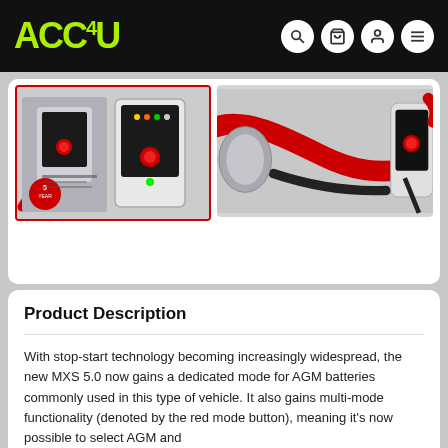ACCU4U navigation bar with logo and icons
[Figure (photo): Product image thumbnail (selected, red border): battery charger MXS 5.0 with red clamps and 5 year warranty badge]
[Figure (photo): Product image large view: close-up of battery charger with red cable and clamps]
Product Description
With stop-start technology becoming increasingly widespread, the new MXS 5.0 now gains a dedicated mode for AGM batteries commonly used in this type of vehicle. It also gains multi-mode functionality (denoted by the red mode button), meaning it's now possible to select AGM and